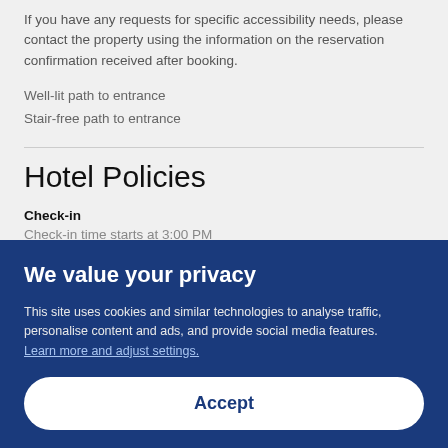If you have any requests for specific accessibility needs, please contact the property using the information on the reservation confirmation received after booking.
Well-lit path to entrance
Stair-free path to entrance
Hotel Policies
Check-in
Check-in time starts at 3:00 PM
We value your privacy
This site uses cookies and similar technologies to analyse traffic, personalise content and ads, and provide social media features. Learn more and adjust settings.
Accept